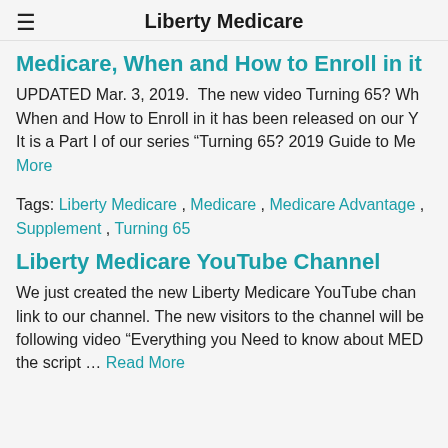Liberty Medicare
Medicare, When and How to Enroll in it
UPDATED Mar. 3, 2019.  The new video Turning 65? When and How to Enroll in it has been released on our Y... It is a Part I of our series “Turning 65? 2019 Guide to Me…
More
Tags: Liberty Medicare , Medicare , Medicare Advantage , Supplement , Turning 65
Liberty Medicare YouTube Channel
We just created the new Liberty Medicare YouTube chan… link to our channel. The new visitors to the channel will be… following video “Everything you Need to know about MED… the script … Read More